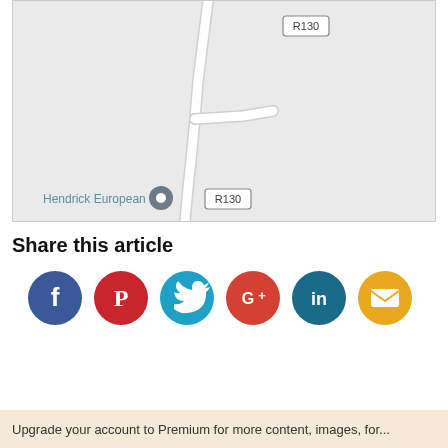[Figure (map): Map showing roads R130 near Hendrick European location marker in a light grey map style with a road label box and a location pin.]
Share this article
[Figure (infographic): Row of six social media share icons: Facebook (dark blue), Pinterest (red), Twitter (light blue), Google+ (orange-red), LinkedIn (teal blue), Email (yellow/amber).]
Upgrade your account to Premium for more content, images, for...